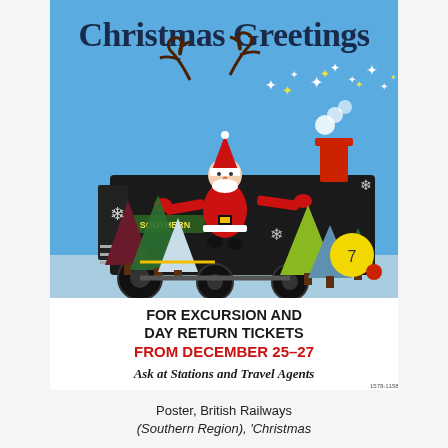[Figure (illustration): Vintage British Railways (Southern Region) Christmas poster titled 'Christmas Greetings' featuring a retro illustration of Santa Claus riding on the front of a steam locomotive (labeled SOUTHERN) with Christmas trees, reindeer, snowflakes, and stars. Text at bottom reads: FOR EXCURSION AND DAY RETURN TICKETS FROM DECEMBER 25–27 Ask at Stations and Travel Agents]
Poster, British Railways (Southern Region), 'Christmas...